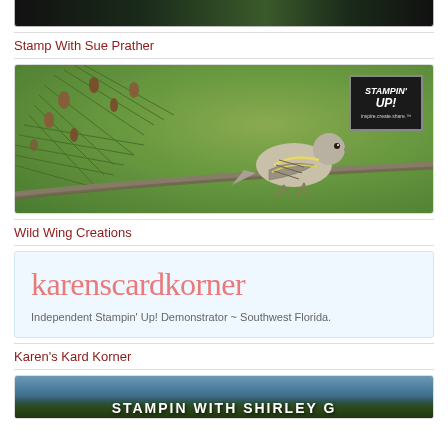[Figure (photo): Partial top view of a dark nature/garden banner image, cropped at top]
Stamp With Sue Prather
[Figure (photo): A small bird (pine siskin) perched on a pine branch with cones, against a green background. Stampin' Up! logo in upper right corner.]
Wild Wing Creations
[Figure (other): Blog header for karenscardkorner showing the blog title in large pink serif font and subtitle: Independent Stampin' Up! Demonstrator ~ Southwest Florida.]
Karen's Kard Korner
[Figure (photo): Banner image for Stampin with Shirley G showing mountain landscape with pine trees and text overlay reading STAMPIN WITH SHIRLEY G]